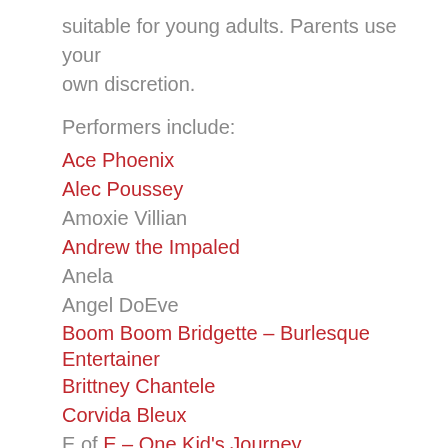suitable for young adults. Parents use your own discretion.
Performers include:
Ace Phoenix
Alec Poussey
Amoxie Villian
Andrew the Impaled
Anela
Angel DoEve
Boom Boom Bridgette – Burlesque Entertainer
Brittney Chantele
Corvida Bleux
E of E – One Kid's Journey
Eden Ivy
Gerra